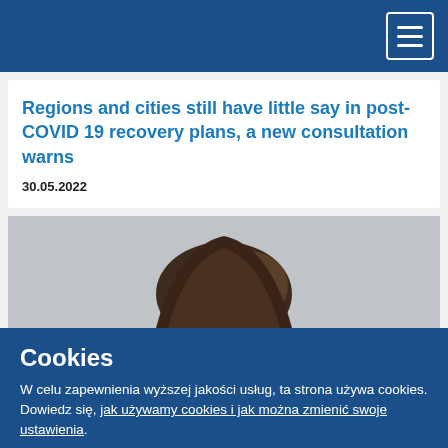Navigation bar with hamburger menu
Regions and cities still have little say in post-COVID 19 recovery plans, a new consultation warns
30.05.2022
[Figure (photo): Photo of a person, cropped showing top of head with dark hair, against grey background]
Cookies
W celu zapewnienia wyższej jakości usług, ta strona używa cookies. Dowiedz się, jak używamy cookies i jak można zmienić swoje ustawienia.
Akceptuję cookies
Nie akceptuję cookies